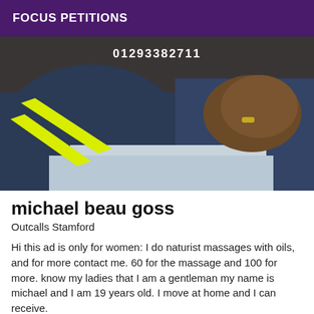FOCUS PETITIONS
[Figure (photo): Close-up photo of a person wearing a dark navy blue shirt with a yellow/green stripe, with a hand wearing a ring visible, and a phone number overlay at the top.]
michael beau goss
Outcalls Stamford
Hi this ad is only for women: I do naturist massages with oils, and for more contact me. 60 for the massage and 100 for more. know my ladies that I am a gentleman my name is michael and I am 19 years old. I move at home and I can receive.